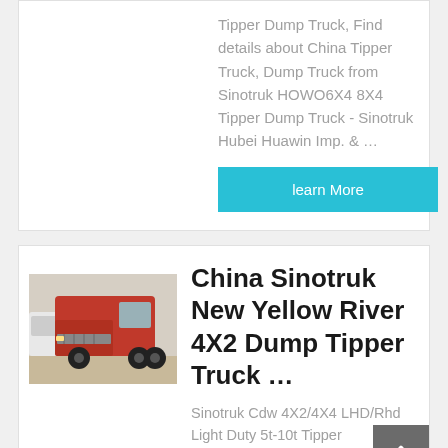Tipper Dump Truck, Find details about China Tipper Truck, Dump Truck from Sinotruk HOWO6X4 8X4 Tipper Dump Truck - Sinotruk Hubei Huawin Imp. & …
learn More
[Figure (photo): Photo of a red Sinotruk truck / tractor unit parked outdoors]
China Sinotruk New Yellow River 4X2 Dump Tipper Truck …
Sinotruk Cdw 4X2/4X4 LHD/Rhd Light Duty 5t-10t Tipper Dump/Dumper Truck. US $14,500-16,000 / Piece. China Original